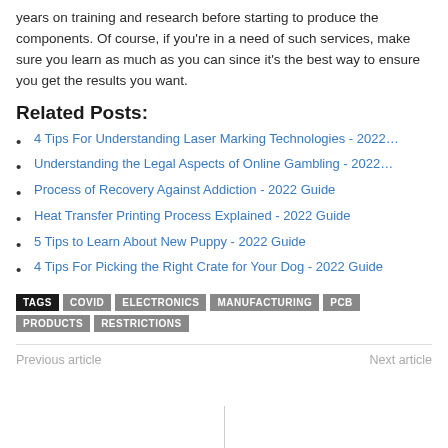years on training and research before starting to produce the components. Of course, if you're in a need of such services, make sure you learn as much as you can since it's the best way to ensure you get the results you want.
Related Posts:
4 Tips For Understanding Laser Marking Technologies - 2022…
Understanding the Legal Aspects of Online Gambling - 2022…
Process of Recovery Against Addiction - 2022 Guide
Heat Transfer Printing Process Explained - 2022 Guide
5 Tips to Learn About New Puppy - 2022 Guide
4 Tips For Picking the Right Crate for Your Dog - 2022 Guide
TAGS: COVID, ELECTRONICS, MANUFACTURING, PCB, PRODUCTS, RESTRICTIONS
Previous article | Next article